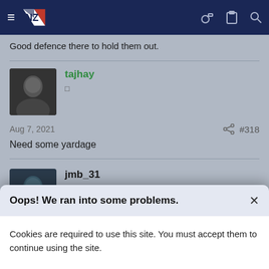Navigation bar with logo and icons
Good defence there to hold them out.
tajhay
Aug 7, 2021  #318
Need some yardage
jmb_31
Oops! We ran into some problems.
Cookies are required to use this site. You must accept them to continue using the site.